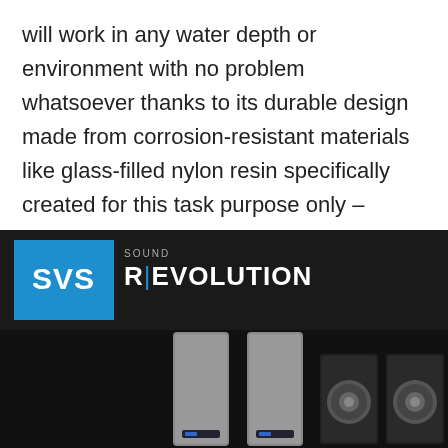will work in any water depth or environment with no problem whatsoever thanks to its durable design made from corrosion-resistant materials like glass-filled nylon resin specifically created for this task purpose only – there's nothing else needed other than some bait right?
[Figure (photo): SVS Sound Revolution advertisement banner with blue SVS logo on black background, showing tall floor-standing speakers and subwoofers]